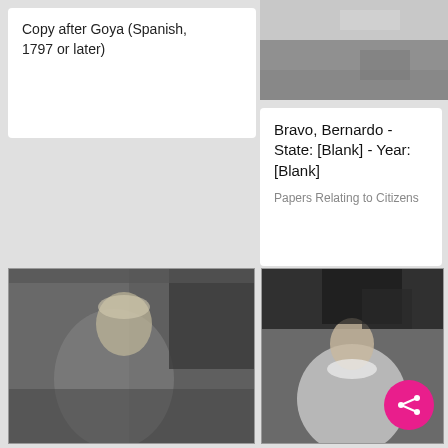Copy after Goya (Spanish, 1797 or later)
[Figure (photo): Black and white photograph, partial view, upper portion cropped]
Bravo, Bernardo - State: [Blank] - Year: [Blank]
Papers Relating to Citizens
[Figure (photo): Black and white photograph of a portrait painting of a nobleman in 18th century attire]
[Figure (photo): Black and white photograph of a painting depicting a monk or friar figure in white robes with dark background]